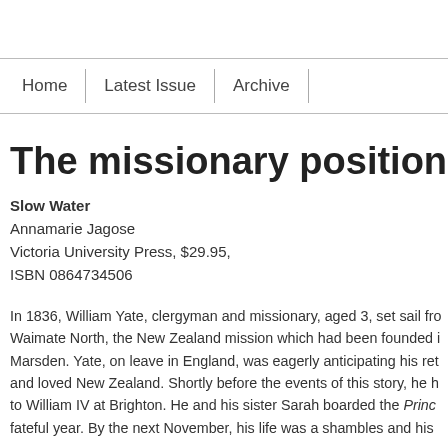Home | Latest Issue | Archive
The missionary position, Lauren
Slow Water
Annamarie Jagose
Victoria University Press, $29.95,
ISBN 0864734506
In 1836, William Yate, clergyman and missionary, aged 3, set sail fro... Waimate North, the New Zealand mission which had been founded ... Marsden. Yate, on leave in England, was eagerly anticipating his ret... and loved New Zealand. Shortly before the events of this story, he h... to William IV at Brighton. He and his sister Sarah boarded the Princ... fateful year. By the next November, his life was a shambles and his ...